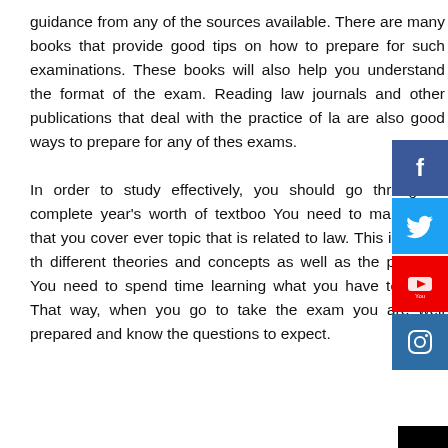guidance from any of the sources available. There are many books that provide good tips on how to prepare for such examinations. These books will also help you understand the format of the exam. Reading law journals and other publications that deal with the practice of law are also good ways to prepare for any of these exams.

In order to study effectively, you should go through a complete year's worth of textbooks. You need to make sure that you cover every topic that is related to law. This includes the different theories and concepts as well as the practice. You need to spend time learning what you have to learn. That way, when you go to take the exam you are well prepared and know the questions to expect.
[Figure (infographic): Social media sharing buttons: Facebook (blue), Twitter (light blue), YouTube (red), Instagram (dark blue)]